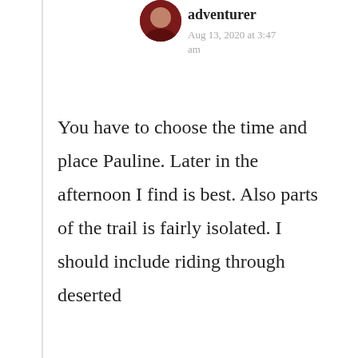[Figure (photo): Circular avatar photo of a person, partially visible at the top of the page]
adventurer
Aug 13, 2020 at 3:47 am
You have to choose the time and place Pauline. Later in the afternoon I find is best. Also parts of the trail is fairly isolated. I should include riding through deserted